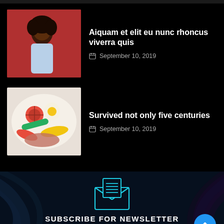[Figure (photo): Partial top image strip (cropped, dark background)]
[Figure (photo): Fashion photo: woman in blue polka dot dress against red background]
Aiquam et elit eu nunc rhoncus viverra quis
September 10, 2019
[Figure (photo): Food photo: colorful salad with vegetables, eggs, and meat]
Survived not only five centuries
September 10, 2019
[Figure (illustration): Newsletter envelope icon in cyan/blue outline style]
SUBSCRIBE FOR NEWSLETTER